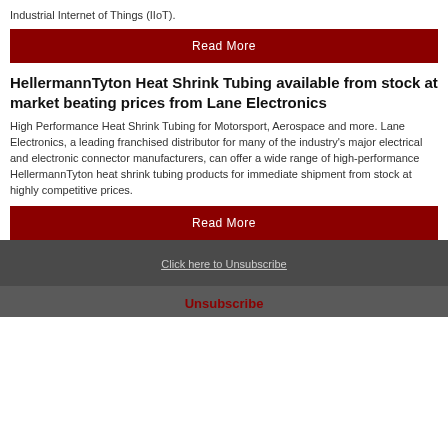Industrial Internet of Things (IIoT).
Read More
HellermannTyton Heat Shrink Tubing available from stock at market beating prices from Lane Electronics
High Performance Heat Shrink Tubing for Motorsport, Aerospace and more. Lane Electronics, a leading franchised distributor for many of the industry's major electrical and electronic connector manufacturers, can offer a wide range of high-performance HellermannTyton heat shrink tubing products for immediate shipment from stock at highly competitive prices.
Read More
Click here to Unsubscribe
Unsubscribe